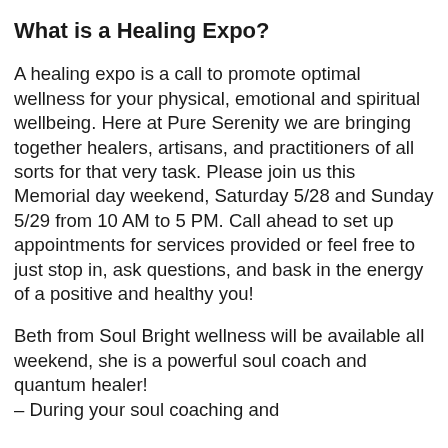What is a Healing Expo?
A healing expo is a call to promote optimal wellness for your physical, emotional and spiritual wellbeing. Here at Pure Serenity we are bringing together healers, artisans, and practitioners of all sorts for that very task. Please join us this Memorial day weekend, Saturday 5/28 and Sunday 5/29 from 10 AM to 5 PM. Call ahead to set up appointments for services provided or feel free to just stop in, ask questions, and bask in the energy of a positive and healthy you!
Beth from Soul Bright wellness will be available all weekend, she is a powerful soul coach and quantum healer!
– During your soul coaching and